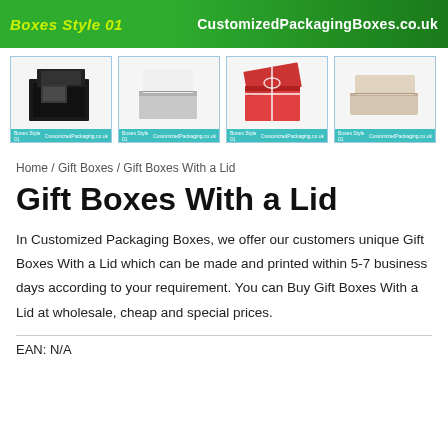[Figure (infographic): Green banner with 'Boxes Style 01' in cursive yellow-green text on left and 'CustomizedPackagingBoxes.co.uk' in white bold text on right]
[Figure (photo): Row of four product thumbnail images showing different gift boxes with lids: black box, white/grey box, red open box with ribbon, and beige/cream flat box]
Home / Gift Boxes / Gift Boxes With a Lid
Gift Boxes With a Lid
In Customized Packaging Boxes, we offer our customers unique Gift Boxes With a Lid which can be made and printed within 5-7 business days according to your requirement. You can Buy Gift Boxes With a Lid at wholesale, cheap and special prices.
EAN: N/A